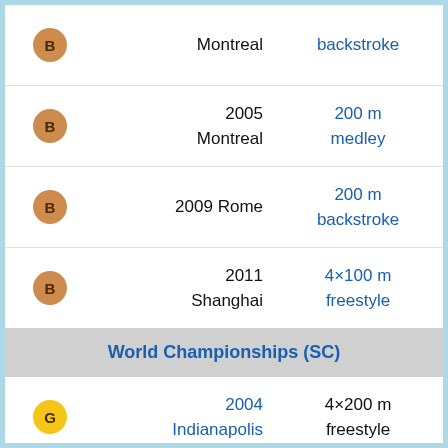B Montreal — backstroke
B 2005 Montreal — 200 m medley
B 2009 Rome — 200 m backstroke
B 2011 Shanghai — 4×100 m freestyle
World Championships (SC)
G 2004 Indianapolis — 4×200 m freestyle
G 2006 Shanghai — 200 m backstroke
G 2006 Shanghai — 200 m medley